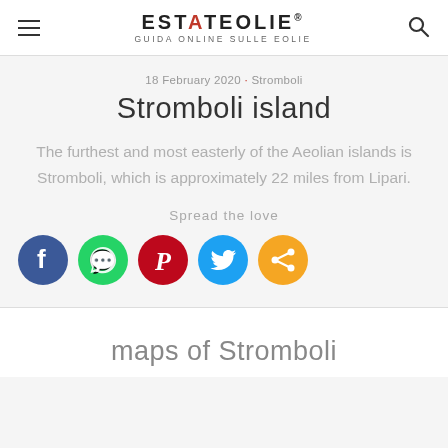ESTATEOLIE® GUIDA ONLINE SULLE EOLIE
18 February 2020 · Stromboli
Stromboli island
The furthest and most easterly of the Aeolian islands is Stromboli, which is approximately 22 miles from Lipari.
Spread the love
[Figure (infographic): Social sharing icons row: Facebook (blue circle), WhatsApp (green circle), Pinterest (red circle), Twitter (light blue circle), Share (orange circle)]
maps of Stromboli